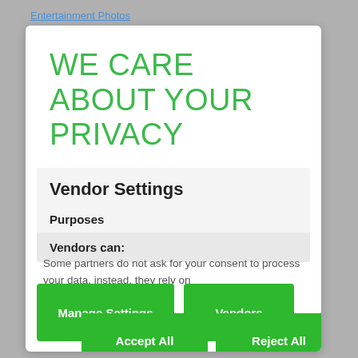Entertainment Photos
WE CARE ABOUT YOUR PRIVACY
Vendor Settings
Purposes
Vendors can:
Some partners do not ask for your consent to process your data, instead, they rely on
Manage Settings
Vendors
Accept All
Reject All
Save & Exit